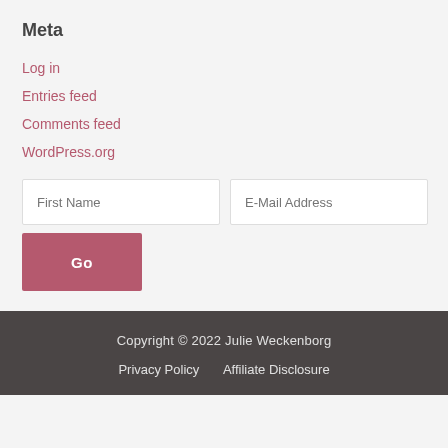Meta
Log in
Entries feed
Comments feed
WordPress.org
First Name | E-Mail Address [form inputs]
Go [button]
Copyright © 2022 Julie Weckenborg
Privacy Policy   Affiliate Disclosure